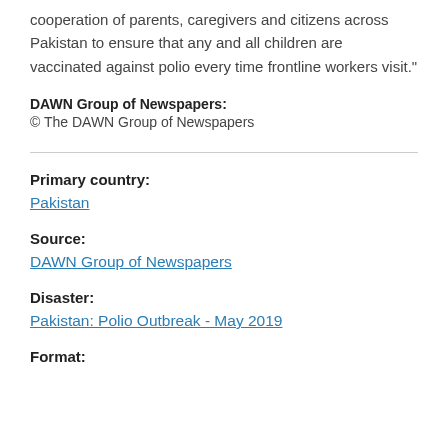cooperation of parents, caregivers and citizens across Pakistan to ensure that any and all children are vaccinated against polio every time frontline workers visit."
DAWN Group of Newspapers:
© The DAWN Group of Newspapers
Primary country:
Pakistan
Source:
DAWN Group of Newspapers
Disaster:
Pakistan: Polio Outbreak - May 2019
Format: